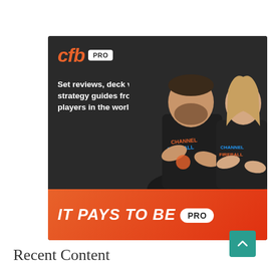[Figure (illustration): CFB Pro advertisement banner showing two professional Magic: The Gathering players in dark Channel Fireball shirts against a dark background. Top section has CFB PRO logo and text 'Set reviews, deck vault, & strategy guides from the best players in the world'. Bottom orange/red bar reads 'IT PAYS TO BE PRO'.]
Recent Content